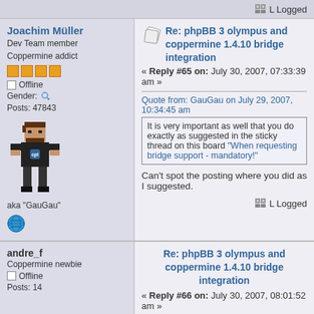Logged
Joachim Müller
Dev Team member
Coppermine addict
Offline
Gender: ♂
Posts: 47843
aka "GauGau"
Re: phpBB 3 olympus and coppermine 1.4.10 bridge integration
« Reply #65 on: July 30, 2007, 07:33:39 am »
Quote from: GauGau on July 29, 2007, 10:34:45 am
It is very important as well that you do exactly as suggested in the sticky thread on this board "When requesting bridge support - mandatory!"
Can't spot the posting where you did as I suggested.
Logged
andre_f
Coppermine newbie
Offline
Posts: 14
Re: phpBB 3 olympus and coppermine 1.4.10 bridge integration
« Reply #66 on: July 30, 2007, 08:01:52 am »